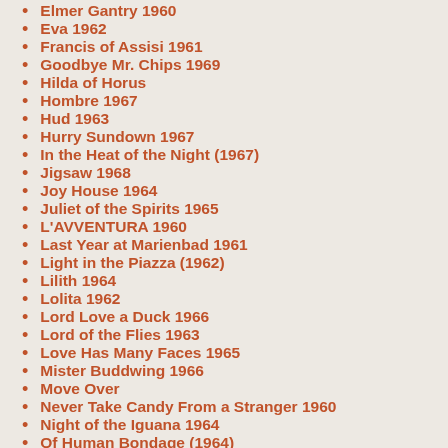Elmer Gantry 1960
Eva 1962
Francis of Assisi 1961
Goodbye Mr. Chips 1969
Hilda of Horus
Hombre 1967
Hud 1963
Hurry Sundown 1967
In the Heat of the Night (1967)
Jigsaw 1968
Joy House 1964
Juliet of the Spirits 1965
L'AVVENTURA 1960
Last Year at Marienbad 1961
Light in the Piazza (1962)
Lilith 1964
Lolita 1962
Lord Love a Duck 1966
Lord of the Flies 1963
Love Has Many Faces 1965
Mister Buddwing 1966
Move Over
Never Take Candy From a Stranger 1960
Night of the Iguana 1964
Of Human Bondage (1964)